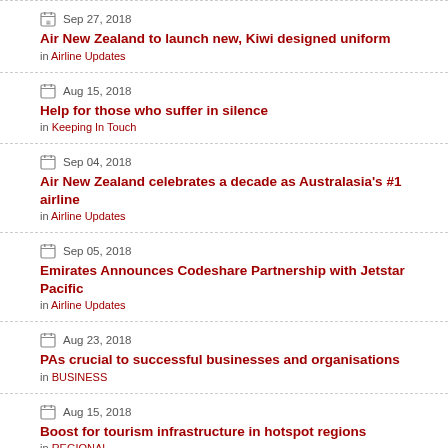Sep 27, 2018 | Air New Zealand to launch new, Kiwi designed uniform | in Airline Updates
Aug 15, 2018 | Help for those who suffer in silence | in Keeping In Touch
Sep 04, 2018 | Air New Zealand celebrates a decade as Australasia's #1 airline | in Airline Updates
Sep 05, 2018 | Emirates Announces Codeshare Partnership with Jetstar Pacific | in Airline Updates
Aug 23, 2018 | PAs crucial to successful businesses and organisations | in BUSINESS
Aug 15, 2018 | Boost for tourism infrastructure in hotspot regions | in REGIONAL